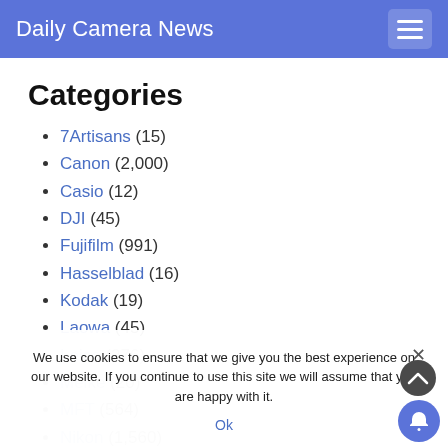Daily Camera News
Categories
7Artisans (15)
Canon (2,000)
Casio (12)
DJI (45)
Fujifilm (991)
Hasselblad (16)
Kodak (19)
Laowa (45)
Leica (276)
Meike (20)
MFT (564)
Nikon (1,560)
Olympus (719)
Panasonic (673)
We use cookies to ensure that we give you the best experience on our website. If you continue to use this site we will assume that you are happy with it.